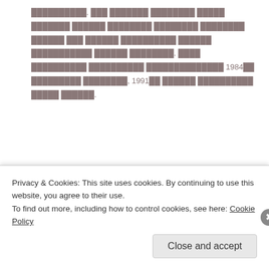██████████. ███ ███████ ████████ █████ ███████ ██████ ████████ ████████ ████████ ██████ ███ ██████ ██████████ ██████ ███████████ ██████ ████████. ████ ██████████ ██████████ ██████████████ 1984██ █████████ ████████, 1991██ ██████ ██████████ █████ ██████.
[Figure (screenshot): Advertisement banner with purple background, teal arrow, text 'How to start selling...' and orange accent shape]
██████████ ████ ████████ ██████████ ████ █████ ██████ █████ ████████ ████████ ██████████ █████ █████████ ███████ ██████ ██████ ███████████ ██████████████████. ██████ ██████████ ████ ████████ █████
Privacy & Cookies: This site uses cookies. By continuing to use this website, you agree to their use.
To find out more, including how to control cookies, see here: Cookie Policy
Close and accept